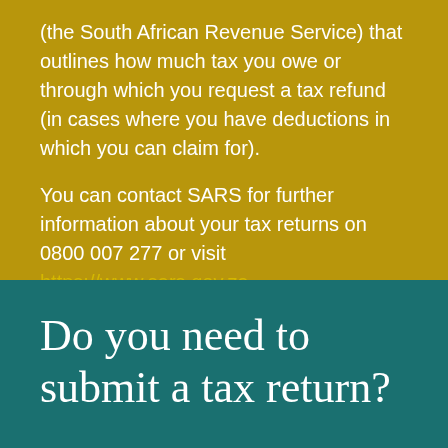(the South African Revenue Service) that outlines how much tax you owe or through which you request a tax refund (in cases where you have deductions in which you can claim for).
You can contact SARS for further information about your tax returns on 0800 007 277 or visit https://www.sars.gov.za
Do you need to submit a tax return?